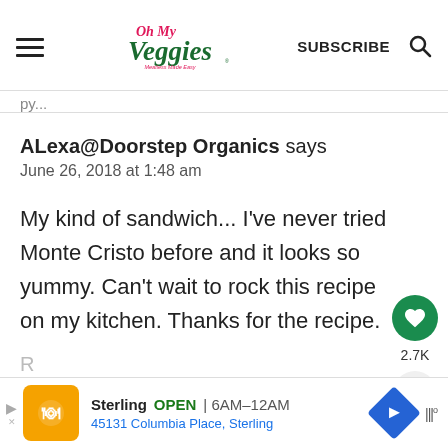Oh My Veggies — SUBSCRIBE
ALexa@Doorstep Organics says
June 26, 2018 at 1:48 am

My kind of sandwich... I've never tried Monte Cristo before and it looks so yummy. Can't wait to rock this recipe on my kitchen. Thanks for the recipe.
[Figure (screenshot): Ad banner for Sterling restaurant: OPEN 6AM–12AM, 45131 Columbia Place, Sterling]
R